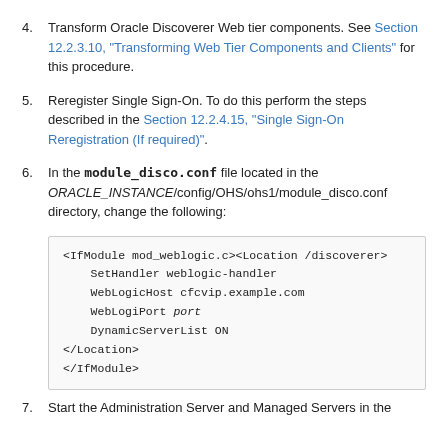4. Transform Oracle Discoverer Web tier components. See Section 12.2.3.10, "Transforming Web Tier Components and Clients" for this procedure.
5. Reregister Single Sign-On. To do this perform the steps described in the Section 12.2.4.15, "Single Sign-On Reregistration (If required)".
6. In the module_disco.conf file located in the ORACLE_INSTANCE/config/OHS/ohs1/module_disco.conf directory, change the following:
<IfModule mod_weblogic.c><Location /discoverer>
    SetHandler weblogic-handler
    WebLogicHost cfcvip.example.com
    WebLogiPort port
    DynamicServerList ON
</Location>
</IfModule>
7. Start the Administration Server and Managed Servers in the